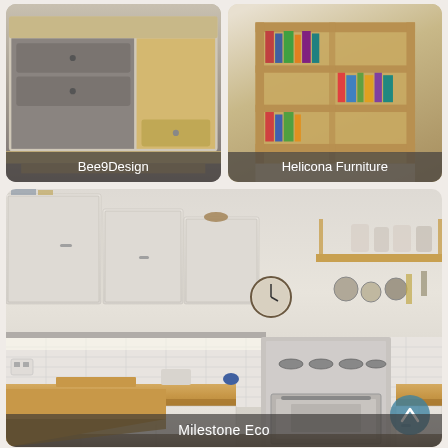[Figure (photo): Photo of a wooden cabinet/dresser with grey drawers and doors, Bee9Design product]
Bee9Design
[Figure (photo): Photo of a wooden bookcase/shelving unit with books, Helicona Furniture product]
Helicona Furniture
[Figure (photo): Photo of a white kitchen with wooden worktops, gas range cooker, open shelving with pots and pans, wall clock, Milestone Eco product]
Milestone Eco